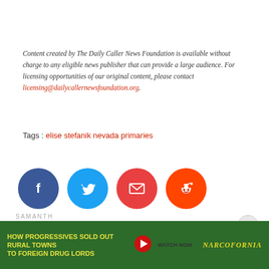Content created by The Daily Caller News Foundation is available without charge to any eligible news publisher that can provide a large audience. For licensing opportunities of our original content, please contact licensing@dailycallernewsfoundation.org.
Tags : elise stefanik nevada primaries
[Figure (infographic): Social share buttons: Facebook (dark blue circle with f icon), Twitter (light blue circle with bird icon), Email (red circle with envelope icon), Reddit (orange-red circle with alien icon)]
Scroll down for comments
SAMANTH...
[Figure (infographic): Advertisement banner: HOW PROGRESSIVES SOLD OUT RURAL TOWNS TO FOREIGN DRUG LORDS - NARCOFORNIA - WATCH NOW]